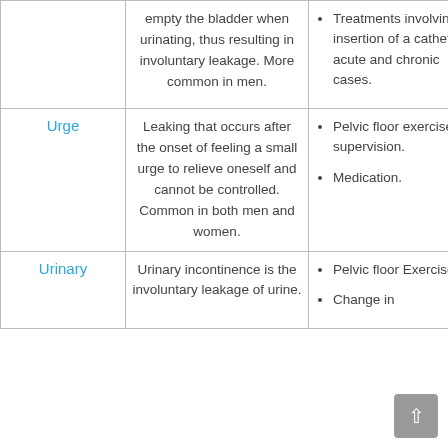| Type | Description | Treatments |
| --- | --- | --- |
|  | empty the bladder when urinating, thus resulting in involuntary leakage. More common in men. | Treatments involving the insertion of a catheter in acute and chronic cases. |
| Urge | Leaking that occurs after the onset of feeling a small urge to relieve oneself and cannot be controlled. Common in both men and women. | Pelvic floor exercise with supervision.
Medication. |
| Urinary | Urinary incontinence is the involuntary leakage of urine. | Pelvic floor Exercises.
Change in |